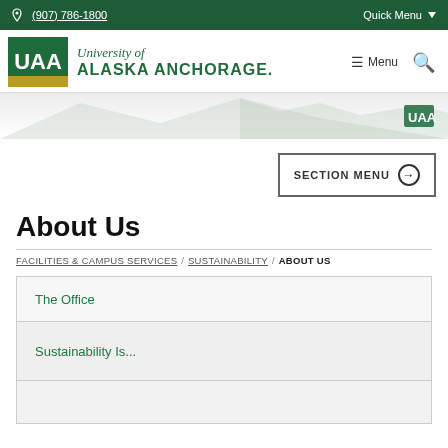(907) 786-1800   Quick Menu
[Figure (logo): University of Alaska Anchorage logo with green background and UAA text]
About Us
FACILITIES & CAMPUS SERVICES / SUSTAINABILITY / ABOUT US
The Office
Sustainability Is...